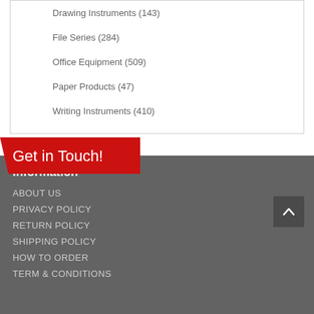Drawing Instruments (143)
File Series (284)
Office Equipment (509)
Paper Products (47)
Writing Instruments (410)
[Figure (other): Red banner with handwritten-style text 'Get in Touch!']
Information
ABOUT US
PRIVACY POLICY
RETURN POLICY
SHIPPING POLICY
HOW TO ORDER
TERM & CONDITIONS